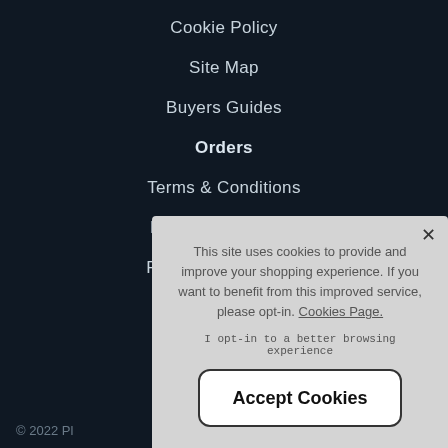Cookie Policy
Site Map
Buyers Guides
Orders
Terms & Conditions
Delivery & Returns
Payment & Security
This site uses cookies to provide and improve your shopping experience. If you want to benefit from this improved service, please opt-in. Cookies Page.
I opt-in to a better browsing experience
Accept Cookies
© 2022 Pl…